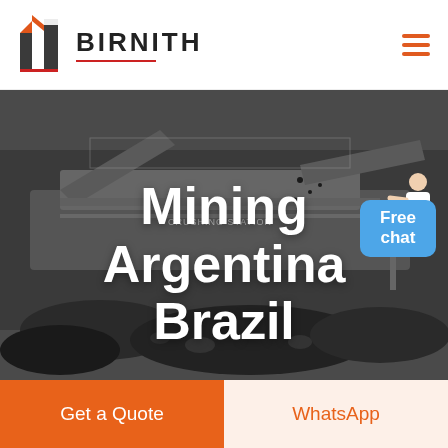[Figure (logo): Birnith company logo with orange and dark building icon and BIRNITH text with red underline]
[Figure (photo): Mining/crushing station machinery with coal/rocks, dark industrial background. Large white bold text overlay: Mining Argentina Brazil]
Mining Argentina Brazil
Free chat
Get a Quote
WhatsApp